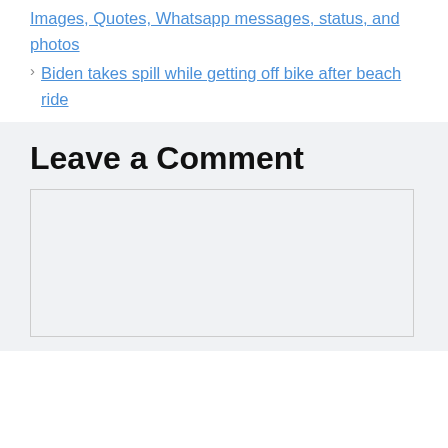Images, Quotes, Whatsapp messages, status, and photos
Biden takes spill while getting off bike after beach ride
Leave a Comment